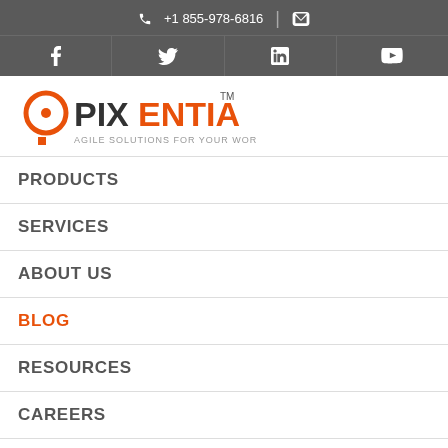+1 855-978-6816
[Figure (logo): Pixentia logo with tagline 'AGILE SOLUTIONS FOR YOUR WORKFORCE']
PRODUCTS
SERVICES
ABOUT US
BLOG
RESOURCES
CAREERS
CONTACT